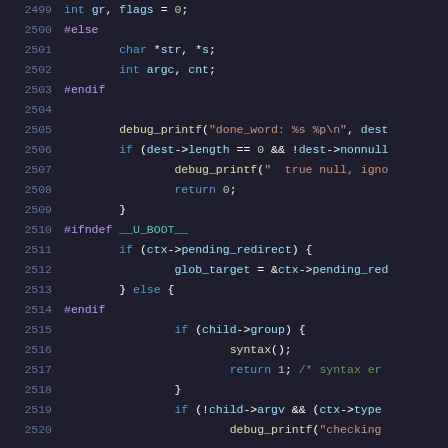[Figure (screenshot): Source code listing in a dark-themed code editor showing C code lines 2499-2520 with syntax highlighting. Line numbers in blue-grey, preprocessor directives in purple, keywords in blue, function names in yellow, strings in orange, numbers in green, comments in green, variables in light blue.]